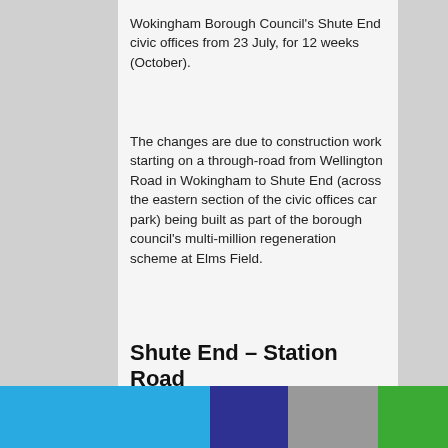Wokingham Borough Council's Shute End civic offices from 23 July, for 12 weeks (October).
The changes are due to construction work starting on a through-road from Wellington Road in Wokingham to Shute End (across the eastern section of the civic offices car park) being built as part of the borough council's multi-million regeneration scheme at Elms Field.
Shute End – Station Road
The existing Shute End entrance to the civic offices and the affected part of the car park will close until October for construction on the new road to start (where it will connect with Shute